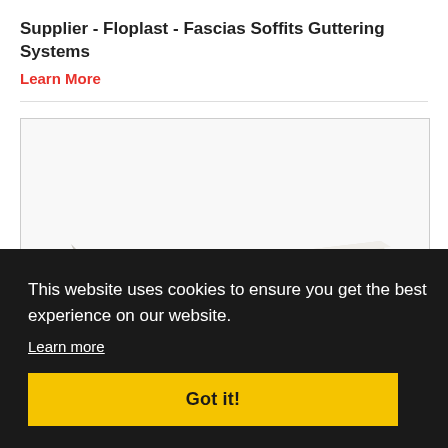Supplier - Floplast - Fascias Soffits Guttering Systems
Learn More
[Figure (photo): Product photo of a white PVC flat board (Floplast Square Edge Universal Board 9mm Single Leg 250mm White) shown at an angle on a white background.]
FLOPLAST SQUARE EDGE UNIVERSAL BOARD 9MM SINGLE LEG ~ 250MM ~ WHITE
POA
CONTACT US
This website uses cookies to ensure you get the best experience on our website.
Learn more
Got it!